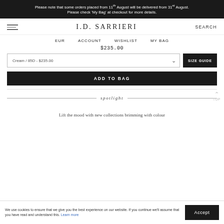Please note that some orders placed from 11th August will be delivered from 31st August. Please check 'My Bag' at checkout for more details.
I.D. SARRIERI
SEARCH
EUR  ACCOUNT  WISHLIST  MY BAG
$235.00
Cream / 85D - $235.00
SIZE GUIDE
ADD TO BAG
spotlight
Lift the mood with new collections brimming with colour
We use cookies to ensure that we give you the best experience on our website. If you continue we'll assume that you have read and understand this. Learn more